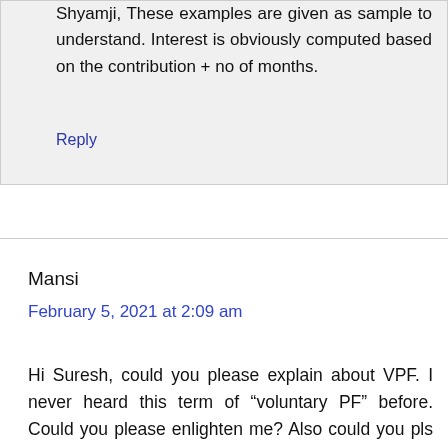Shyamji, These examples are given as sample to understand. Interest is obviously computed based on the contribution + no of months.
Reply
Mansi
February 5, 2021 at 2:09 am
Hi Suresh, could you please explain about VPF. I never heard this term of “voluntary PF” before. Could you please enlighten me? Also could you pls advise – How do we invest